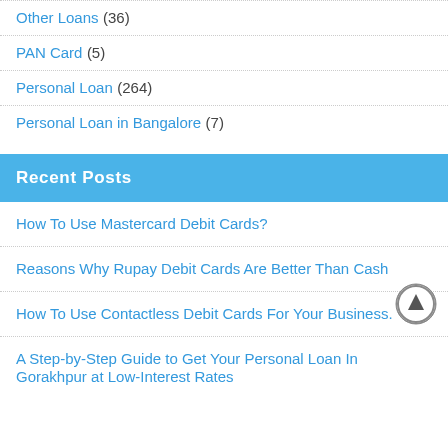Other Loans (36)
PAN Card (5)
Personal Loan (264)
Personal Loan in Bangalore (7)
Recent Posts
How To Use Mastercard Debit Cards?
Reasons Why Rupay Debit Cards Are Better Than Cash
How To Use Contactless Debit Cards For Your Business.
A Step-by-Step Guide to Get Your Personal Loan In Gorakhpur at Low-Interest Rates